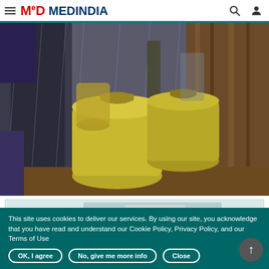MEDINDIA
[Figure (photo): Yellow gas cylinders/jerricans stacked against a wooden wall outdoors, with rain or water visible]
[Figure (photo): Partial view of a second image strip, showing a light-colored object partially visible]
This site uses cookies to deliver our services. By using our site, you acknowledge that you have read and understand our Cookie Policy, Privacy Policy, and our Terms of Use
OK, I agree | No, give me more info | Close